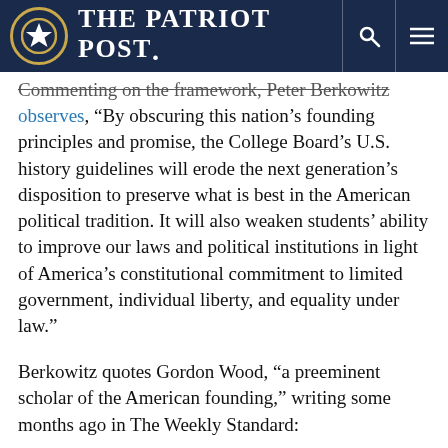THE PATRIOT POST.
Commenting on the framework, Peter Berkowitz observes, “By obscuring this nation’s founding principles and promise, the College Board’s U.S. history guidelines will erode the next generation’s disposition to preserve what is best in the American political tradition. It will also weaken students’ ability to improve our laws and political institutions in light of America’s constitutional commitment to limited government, individual liberty, and equality under law.”
Berkowitz quotes Gordon Wood, “a preeminent scholar of the American founding,” writing some months ago in The Weekly Standard:
“The inequalities of race and gender now permeate much of academic history-writing, so much so that